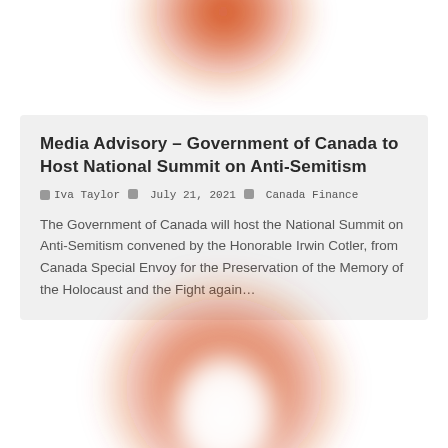[Figure (illustration): Blurred orange radial blob shape at the top center of the page, partially cut off]
Media Advisory – Government of Canada to Host National Summit on Anti-Semitism
Iva Taylor  |  July 21, 2021  |  Canada Finance
The Government of Canada will host the National Summit on Anti-Semitism convened by the Honorable Irwin Cotler, from Canada Special Envoy for the Preservation of the Memory of the Holocaust and the Fight again...
[Figure (illustration): Blurred orange arch/omega shaped blob at the bottom center of the page, partially cut off]